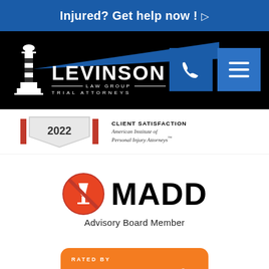Injured? Get help now ! ▷
[Figure (logo): Levinson Law Group Trial Attorneys logo with lighthouse icon and blue diagonal stripe on black background, plus phone and menu buttons]
[Figure (logo): 2022 award badge with silver shield and American Institute of Personal Injury Attorneys Client Satisfaction seal]
[Figure (logo): MADD Advisory Board Member logo with red no-drink icon]
[Figure (logo): Rated by Super Lawyers badge in orange rounded rectangle]